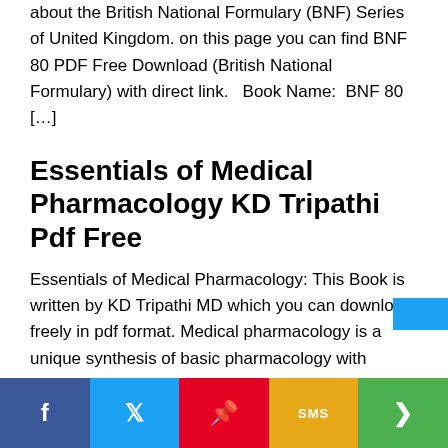about the British National Formulary (BNF) Series of United Kingdom. on this page you can find BNF 80 PDF Free Download (British National Formulary) with direct link.   Book Name:  BNF 80 […]
Essentials of Medical Pharmacology KD Tripathi Pdf Free
Essentials of Medical Pharmacology: This Book is written by KD Tripathi MD which you can download freely in pdf format. Medical pharmacology is a unique synthesis of basic pharmacology with clinical pharmacology and pharmacotherapeutic...